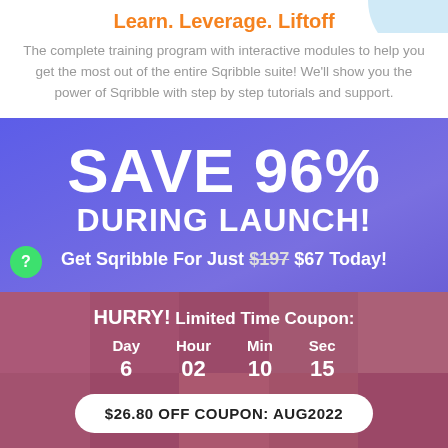Learn. Leverage. Liftoff
The complete training program with interactive modules to help you get the most out of the entire Sqribble suite! We'll show you the power of Sqribble with step by step tutorials and support.
SAVE 96% DURING LAUNCH!
Get Sqribble For Just $197 $67 Today!
HURRY! Limited Time Coupon:
| Day | Hour | Min | Sec |
| --- | --- | --- | --- |
| 6 | 02 | 10 | 15 |
$26.80 OFF COUPON: AUG2022